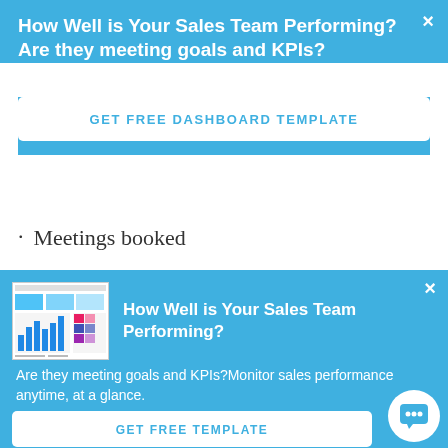How Well is Your Sales Team Performing? Are they meeting goals and KPIs?
GET FREE DASHBOARD TEMPLATE
Meetings booked
Calls logged
[Figure (screenshot): Small thumbnail screenshot of a sales dashboard with charts and tables]
How Well is Your Sales Team Performing?
Are they meeting goals and KPIs?Monitor sales performance anytime, at a glance.
GET FREE TEMPLATE